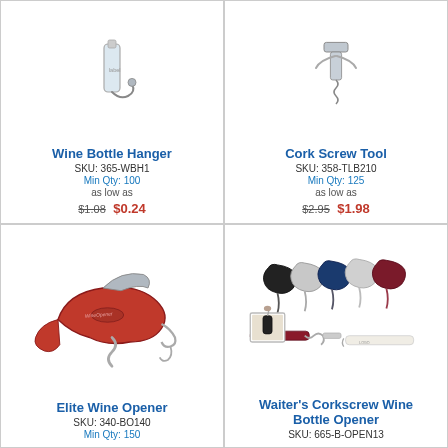Wine Bottle Hanger
SKU: 365-WBH1
Min Qty: 100
as low as $1.08 $0.24
Cork Screw Tool
SKU: 358-TLB210
Min Qty: 125
as low as $2.95 $1.98
Elite Wine Opener
SKU: 340-BO140
Min Qty: 150
Waiter's Corkscrew Wine Bottle Opener
SKU: 665-B-OPEN13